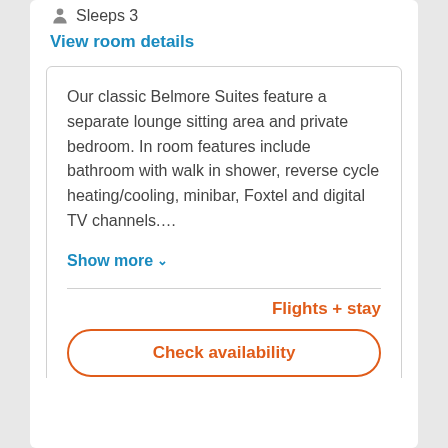Sleeps 3
View room details
Our classic Belmore Suites feature a separate lounge sitting area and private bedroom. In room features include bathroom with walk in shower, reverse cycle heating/cooling, minibar, Foxtel and digital TV channels….
Show more ∨
Flights + stay
Check availability